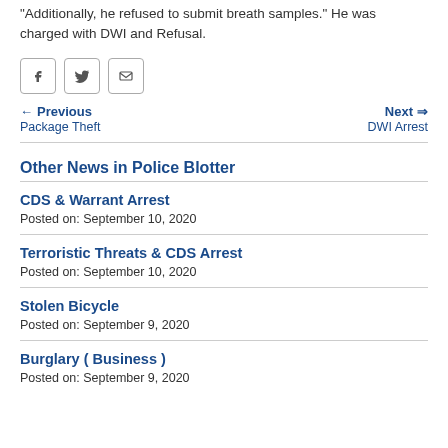"Additionally, he refused to submit breath samples." He was charged with DWI and Refusal.
[Figure (other): Social share buttons: Facebook, Twitter, Email]
← Previous Package Theft    Next → DWI Arrest
Other News in Police Blotter
CDS & Warrant Arrest
Posted on: September 10, 2020
Terroristic Threats & CDS Arrest
Posted on: September 10, 2020
Stolen Bicycle
Posted on: September 9, 2020
Burglary ( Business )
Posted on: September 9, 2020